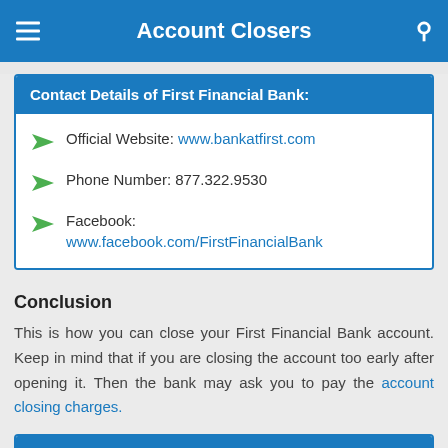Account Closers
Contact Details of First Financial Bank:
Official Website: www.bankatfirst.com
Phone Number: 877.322.9530
Facebook: www.facebook.com/FirstFinancialBank
Conclusion
This is how you can close your First Financial Bank account. Keep in mind that if you are closing the account too early after opening it. Then the bank may ask you to pay the account closing charges.
References Used: